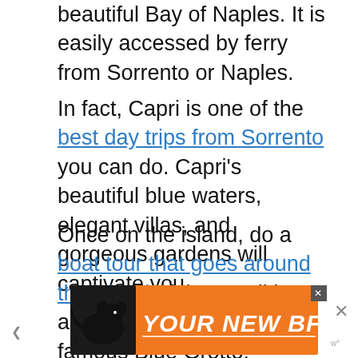beautiful Bay of Naples. It is easily accessed by ferry from Sorrento or Naples.
In fact, Capri is one of the best day trips from Sorrento you can do. Capri's beautiful blue waters, elegant villas, and gorgeous gardens will captivate you.
Once on the island, do a boat tour that goes around the island. If the conditions are right, you can visit the famous Blue Grotto!
[Figure (infographic): Advertisement banner with orange background showing a black dog silhouette and text 'YOUR NEW BFF' with a close button.]